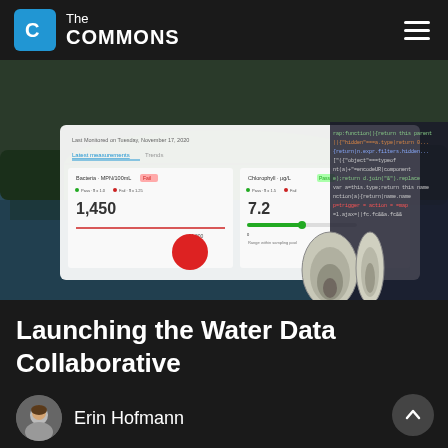The COMMONS
[Figure (screenshot): Hero image composite showing a water quality data dashboard screenshot overlaid on a lake/river scene with trees and code snippets on the right side, plus illustrated shells]
Launching the Water Data Collaborative
[Figure (photo): Circular author photo of Erin Hofmann]
Erin Hofmann
Mainstem Network · March 9, 2021